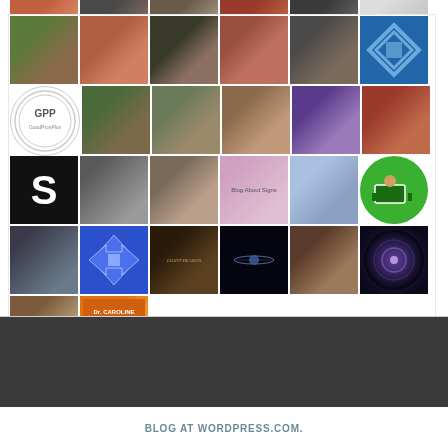[Figure (photo): Grid of user avatar profile photos and logos arranged in rows. Row 1 (partial, cropped at top): 6 avatars partially visible. Row 2: woman with long dark hair outdoors, woman smiling, man serious, man with beard, Asian man, blue geometric diamond logo. Row 3: GPP circular logo, man outdoors, couple together, smiling woman, woman with purple hair, woman with red hair and glasses. Row 4: large S logo black, black-and-white artistic photo, woman outdoors, flowers with text, cartoon character, green screen logo. Row 5: black-and-white ship/mountain, blue snowflake geometric pattern, Light Bearer phoenix graphic, dark space image, man side profile, galaxy nebula. Row 6: man with glasses, book cover with orange figure.]
BLOG AT WORDPRESS.COM.